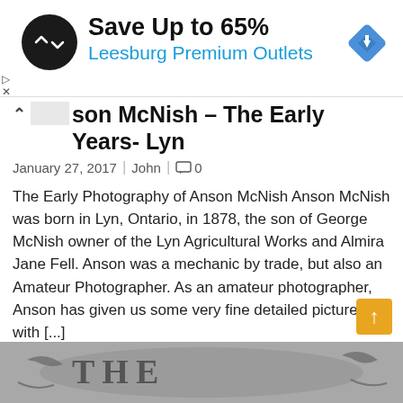[Figure (screenshot): Advertisement banner: black circular logo with double arrow symbol, text 'Save Up to 65%' in black bold, 'Leesburg Premium Outlets' in blue, and a blue diamond navigation icon on the right.]
Anson McNish – The Early Years- Lyn
January 27, 2017  |  John  |  0
The Early Photography of Anson McNish Anson McNish was born in Lyn, Ontario, in 1878, the son of George McNish owner of the Lyn Agricultural Works and Almira Jane Fell. Anson was a mechanic by trade, but also an Amateur Photographer. As an amateur photographer, Anson has given us some very fine detailed pictures with [...]
Tagged  Anson McNish,  Elizabethtown Ontario,  Lyn Ontario
[Figure (photo): Partially visible black and white photograph at the bottom showing decorative lettering and tree branches.]